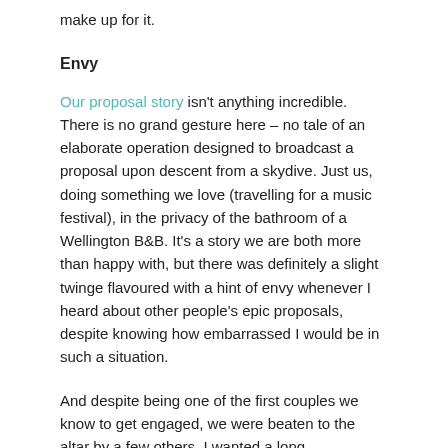make up for it.
Envy
Our proposal story isn't anything incredible. There is no grand gesture here – no tale of an elaborate operation designed to broadcast a proposal upon descent from a skydive. Just us, doing something we love (travelling for a music festival), in the privacy of the bathroom of a Wellington B&B. It's a story we are both more than happy with, but there was definitely a slight twinge flavoured with a hint of envy whenever I heard about other people's epic proposals, despite knowing how embarrassed I would be in such a situation.
And despite being one of the first couples we know to get engaged, we were beaten to the altar by a few others. I wanted a long engagement, but yeah, I felt a little usurped at times. On one hand, I was